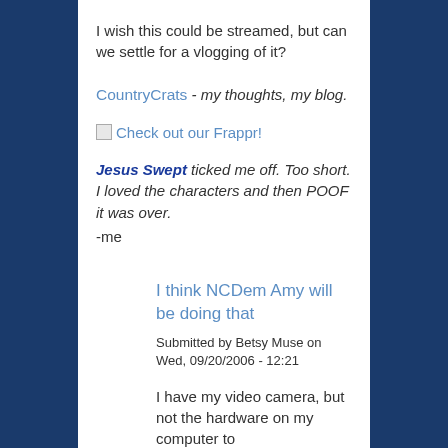I wish this could be streamed, but can we settle for a vlogging of it?
CountryCrats - my thoughts, my blog.
Check out our Frappr!
Jesus Swept ticked me off. Too short. I loved the characters and then POOF it was over.
-me
I think NCDem Amy will be doing that
Submitted by Betsy Muse on Wed, 09/20/2006 - 12:21
I have my video camera, but not the hardware on my computer to